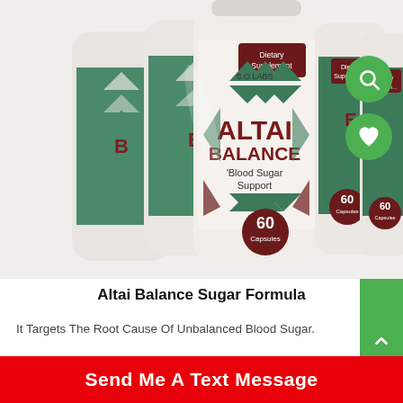[Figure (photo): Multiple bottles of Altai Balance dietary supplement for blood sugar support by S.O Labs, showing 60 capsules each, with green and dark red geometric Aztec-style label design. A green search icon circle and green heart icon circle are overlaid on the right side of the image.]
Altai Balance Sugar Formula
It Targets The Root Cause Of Unbalanced Blood Sugar.
Send Me A Text Message